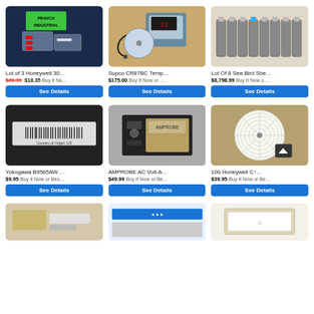[Figure (photo): Photo of Lot of 3 Honeywell items in plastic bags with red components, green PRAVCO INDUSTRIAL label]
Lot of 3 Honeywell 30…
$20.39 $18.35 Buy It No…
See Details
[Figure (photo): Photo of Supco CR87BC temperature device with probe and cable on wooden surface]
Supco CR87BC Temp…
$175.00 Buy It Now or …
See Details
[Figure (photo): Photo of Lot Of 8 Sea Bird Sbe instruments arranged in a row]
Lot Of 8 Sea Bird Sbe…
$8,798.99 Buy It Now o…
See Details
[Figure (photo): Photo of Yokogawa B9565AW device with barcode label on dark background]
Yokogawa B9565AW …
$9.95 Buy It Now or Bes…
See Details
[Figure (photo): Photo of AMPROBE AC Volt-A device, black metal casing with controls]
AMPROBE AC Volt-A…
$49.99 Buy It Now or Be…
See Details
[Figure (photo): Photo of 100 Honeywell circular chart recorder paper discs on tan/cork background]
100 Honeywell C…
$39.95 Buy It Now or Be…
See Details
[Figure (photo): Partial photo of item, bottom row left]
[Figure (photo): Partial photo of item with blue label, bottom row center]
[Figure (photo): Partial photo of item in box, bottom row right]